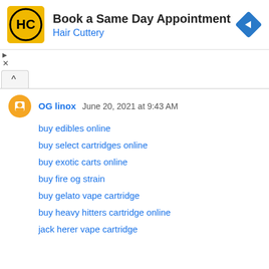[Figure (other): Hair Cuttery advertisement banner with logo, 'Book a Same Day Appointment' heading, 'Hair Cuttery' link, and navigation arrow icon]
OG linox  June 20, 2021 at 9:43 AM
buy edibles online
buy select cartridges online
buy exotic carts online
buy fire og strain
buy gelato vape cartridge
buy heavy hitters cartridge online
jack herer vape cartridge